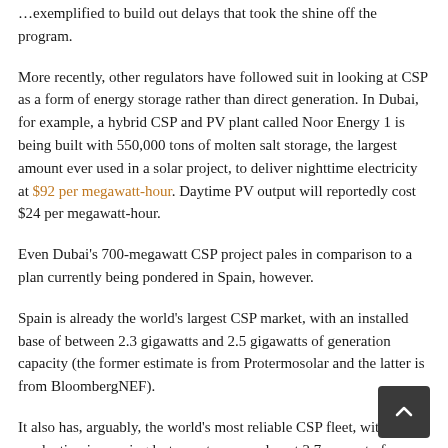…exemplified to build out delays that took the shine off the program.
More recently, other regulators have followed suit in looking at CSP as a form of energy storage rather than direct generation. In Dubai, for example, a hybrid CSP and PV plant called Noor Energy 1 is being built with 550,000 tons of molten salt storage, the largest amount ever used in a solar project, to deliver nighttime electricity at $92 per megawatt-hour. Daytime PV output will reportedly cost $24 per megawatt-hour.
Even Dubai's 700-megawatt CSP project pales in comparison to a plan currently being pondered in Spain, however.
Spain is already the world's largest CSP market, with an installed base of between 2.3 gigawatts and 2.5 gigawatts of generation capacity (the former estimate is from Protermosolar and the latter is from BloombergNEF).
It also has, arguably, the world's most reliable CSP fleet, with production increasing last year to cover almost 2.7 percent of Spain's electricity demand in the first eight months of